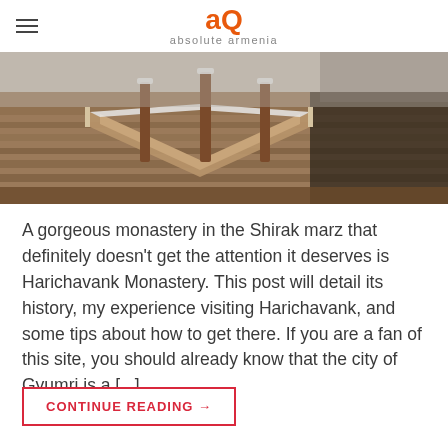absolute armenia
[Figure (photo): Aerial close-up of Harichavank Monastery rooftop and stone architecture with snow, warm reddish-brown stone walls and wooden structural elements visible.]
A gorgeous monastery in the Shirak marz that definitely doesn't get the attention it deserves is Harichavank Monastery. This post will detail its history, my experience visiting Harichavank, and some tips about how to get there. If you are a fan of this site, you should already know that the city of Gyumri is a [...]
CONTINUE READING →